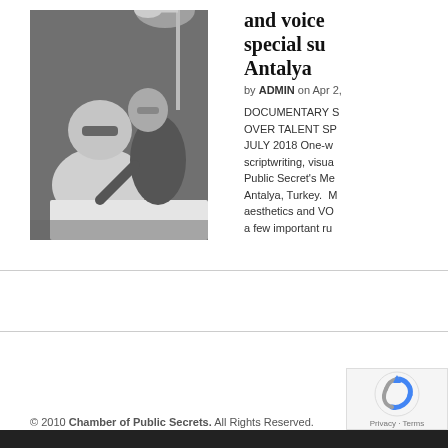[Figure (photo): Black and white photo of two people at a table, one seated in white shirt with sunglasses, another leaning over in black top, under a lamp]
and voice special su Antalya
by ADMIN on Apr 2,
DOCUMENTARY S OVER TALENT SP JULY 2018 One-w scriptwriting, visua Public Secret's Me Antalya, Turkey. M aesthetics and VO a few important ru
© 2010 Chamber of Public Secrets. All Rights Reserved.